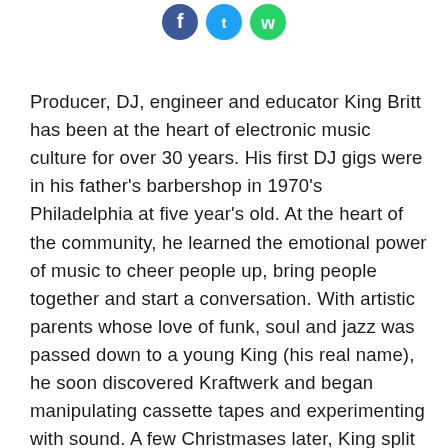[Figure (other): Three social media sharing icon circles (blue Facebook, cyan Twitter/X, green WhatsApp) partially visible at top of page]
Producer, DJ, engineer and educator King Britt has been at the heart of electronic music culture for over 30 years. His first DJ gigs were in his father's barbershop in 1970's Philadelphia at five year's old. At the heart of the community, he learned the emotional power of music to cheer people up, bring people together and start a conversation. With artistic parents whose love of funk, soul and jazz was passed down to a young King (his real name), he soon discovered Kraftwerk and began manipulating cassette tapes and experimenting with sound. A few Christmases later, King split the cost of a Casio SK–1 sampler with his dad and got his hands on his first bit of kit...